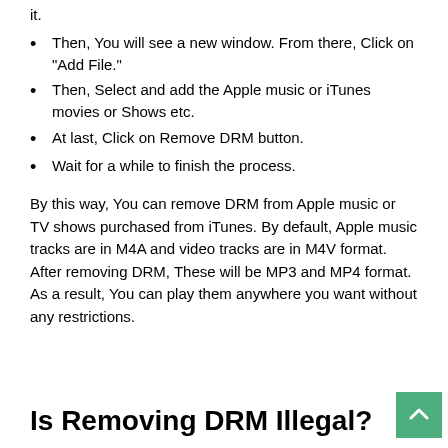it.
Then, You will see a new window. From there, Click on “Add File.”
Then, Select and add the Apple music or iTunes movies or Shows etc.
At last, Click on Remove DRM button.
Wait for a while to finish the process.
By this way, You can remove DRM from Apple music or TV shows purchased from iTunes. By default, Apple music tracks are in M4A and video tracks are in M4V format. After removing DRM, These will be MP3 and MP4 format. As a result, You can play them anywhere you want without any restrictions.
Is Removing DRM Illegal?